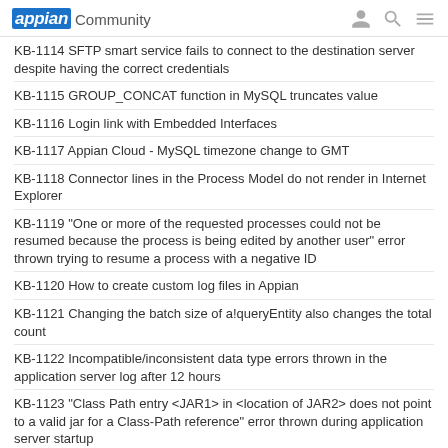appian Community
KB-1114 SFTP smart service fails to connect to the destination server despite having the correct credentials
KB-1115 GROUP_CONCAT function in MySQL truncates value
KB-1116 Login link with Embedded Interfaces
KB-1117 Appian Cloud - MySQL timezone change to GMT
KB-1118 Connector lines in the Process Model do not render in Internet Explorer
KB-1119 "One or more of the requested processes could not be resumed because the process is being edited by another user" error thrown trying to resume a process with a negative ID
KB-1120 How to create custom log files in Appian
KB-1121 Changing the batch size of a!queryEntity also changes the total count
KB-1122 Incompatible/inconsistent data type errors thrown in the application server log after 12 hours
KB-1123 "Class Path entry <JAR1> in <location of JAR2> does not point to a valid jar for a Class-Path reference" error thrown during application server startup
KB-1124 OSGI-related errors cause application server deployment to fail
KB-1125 Heap space issues with search server